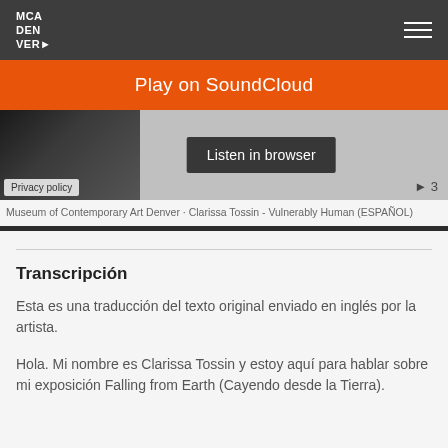MCA DEN VER
[Figure (screenshot): SoundCloud embedded player showing 'Play on SoundCloud' orange button, 'Listen in browser' button, a thumbnail image of a person, privacy policy notice, and play count of 3.]
Museum of Contemporary Art Denver · Clarissa Tossin - Vulnerably Human (ESPAÑOL)
Transcripción
Esta es una traducción del texto original enviado en inglés por la artista.
Hola. Mi nombre es Clarissa Tossin y estoy aquí para hablar sobre mi exposición Falling from Earth (Cayendo desde la Tierra).